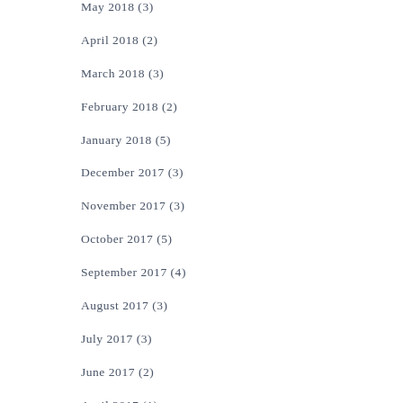May 2018 (3)
April 2018 (2)
March 2018 (3)
February 2018 (2)
January 2018 (5)
December 2017 (3)
November 2017 (3)
October 2017 (5)
September 2017 (4)
August 2017 (3)
July 2017 (3)
June 2017 (2)
April 2017 (1)
March 2017 (2)